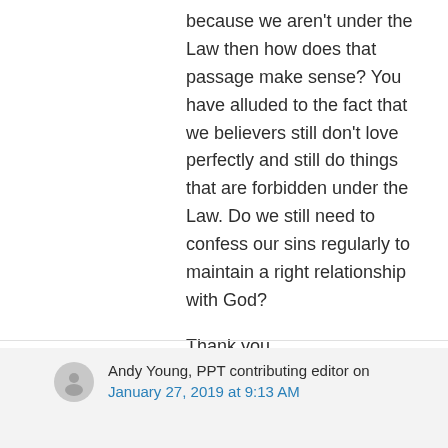because we aren't under the Law then how does that passage make sense? You have alluded to the fact that we believers still don't love perfectly and still do things that are forbidden under the Law. Do we still need to confess our sins regularly to maintain a right relationship with God?
Thank you.
Glenn
★ Like
↪ Reply
Andy Young, PPT contributing editor on
January 27, 2019 at 9:13 AM